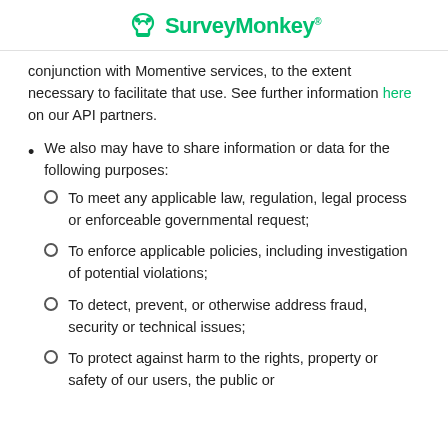SurveyMonkey
conjunction with Momentive services, to the extent necessary to facilitate that use. See further information here on our API partners.
We also may have to share information or data for the following purposes:
To meet any applicable law, regulation, legal process or enforceable governmental request;
To enforce applicable policies, including investigation of potential violations;
To detect, prevent, or otherwise address fraud, security or technical issues;
To protect against harm to the rights, property or safety of our users, the public or